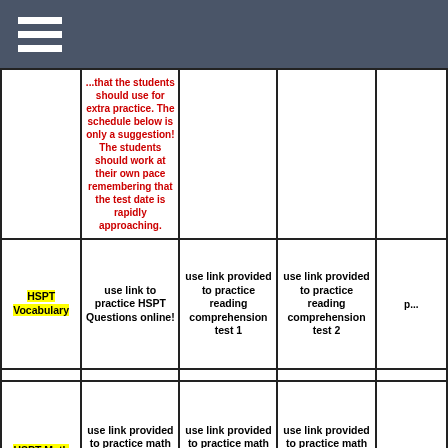Navigation menu icon
|  |  |  |  |  |
| --- | --- | --- | --- | --- |
|  | ...that the students should use for extra practice. The schedule below is only a suggestion! The students should work at their own pace remembering that the test date is rapidly approaching. |  |  |  |
| HSPT Vocabulary | use link to practice HSPT Questions online! | use link provided to practice reading comprehension test 1 | use link provided to practice reading comprehension test 2 | p... |
|  |  |  |  |  |
| HSPT Math | use link provided to practice math problem solving test 1 | use link provided to practice math problem solving test 2 | use link provided to practice math problem solving test 3 | p... p... |
|  |  |  |  |  |
|  |  |  |  | S... |